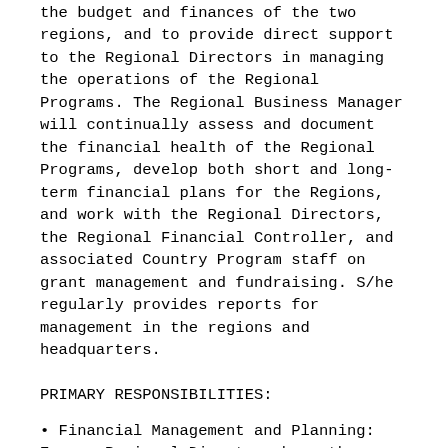the budget and finances of the two regions, and to provide direct support to the Regional Directors in managing the operations of the Regional Programs. The Regional Business Manager will continually assess and document the financial health of the Regional Programs, develop both short and long-term financial plans for the Regions, and work with the Regional Directors, the Regional Financial Controller, and associated Country Program staff on grant management and fundraising. S/he regularly provides reports for management in the regions and headquarters.
PRIMARY RESPONSIBILITIES:
• Financial Management and Planning: Ensure Regional Directors have the financial information they require to manage and fundraise for the Regions; Provide monthly key performance indicators for each country and all multi-country grants; Work with Regional